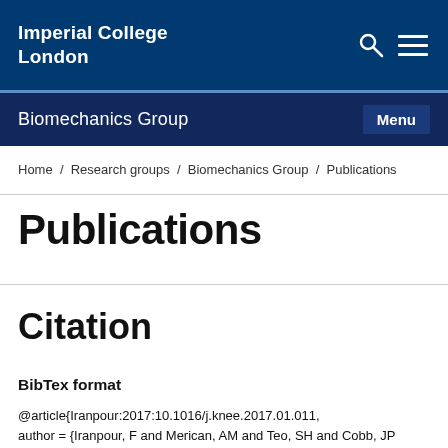Imperial College London
Biomechanics Group   Menu
Home / Research groups / Biomechanics Group / Publications
Publications
Citation
BibTex format
@article{Iranpour:2017:10.1016/j.knee.2017.01.011,
author = {Iranpour, F and Merican, AM and Teo, SH and Cobb, JP